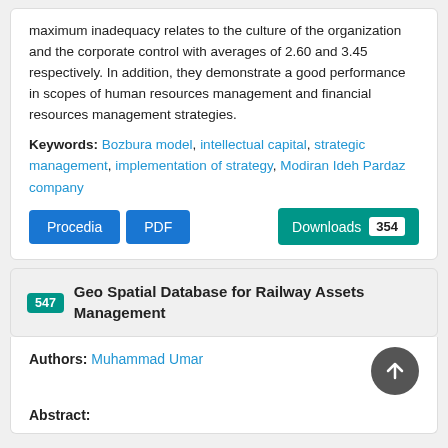maximum inadequacy relates to the culture of the organization and the corporate control with averages of 2.60 and 3.45 respectively. In addition, they demonstrate a good performance in scopes of human resources management and financial resources management strategies.
Keywords: Bozbura model, intellectual capital, strategic management, implementation of strategy, Modiran Ideh Pardaz company
Procedia  PDF  Downloads 354
547 Geo Spatial Database for Railway Assets Management
Authors: Muhammad Umar
Abstract: